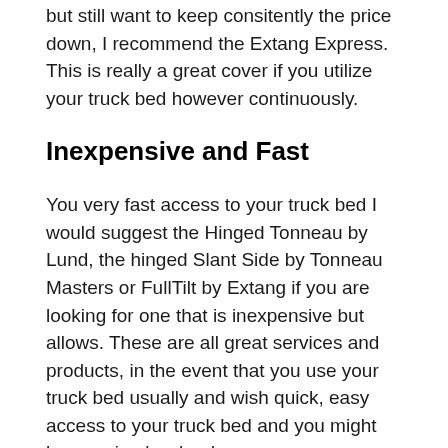but still want to keep consitently the price down, I recommend the Extang Express. This is really a great cover if you utilize your truck bed however continuously.
Inexpensive and Fast
You very fast access to your truck bed I would suggest the Hinged Tonneau by Lund, the hinged Slant Side by Tonneau Masters or FullTilt by Extang if you are looking for one that is inexpensive but allows. These are all great services and products, in the event that you use your truck bed usually and wish quick, easy access to your truck bed and you might be carrying low loads.
Inexpensive, Quick and High Lots
You are attempting to keep consitently the price down but you should be able to have at your truck bed fast, often